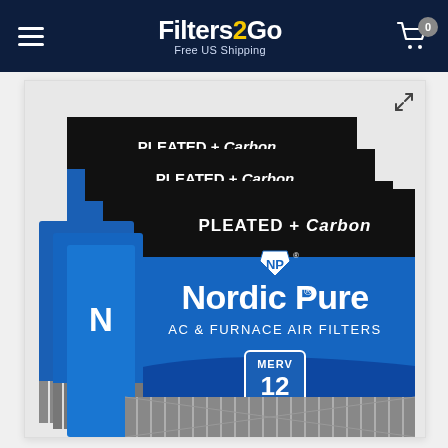Filters2Go — Free US Shipping
[Figure (photo): Multiple Nordic Pure AC & Furnace Air Filters, MERV 12, Pleated + Carbon, stacked/fanned out showing 6 filter boxes with blue packaging and black banner reading PLEATED + Carbon, Nordic Pure logo with NP shield, and filter media visible at bottom.]